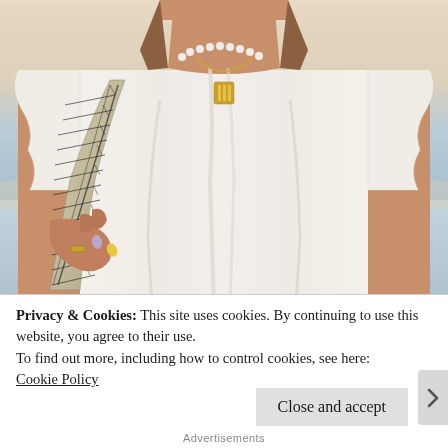[Figure (photo): A woman wearing a white t-shirt with ruffled sleeves and satin ribbon details, pearl and gold necklaces, holding a woven black and white handbag. Shot from neck to waist against a beachside background with soft sky and ocean hues.]
Privacy & Cookies: This site uses cookies. By continuing to use this website, you agree to their use.
To find out more, including how to control cookies, see here:
Cookie Policy
Close and accept
Advertisements